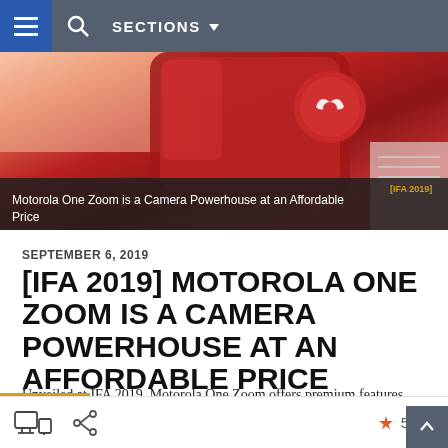SECTIONS
[Figure (photo): Close-up of a red Motorola smartphone with the Motorola batwing logo visible, placed on a light surface. A dark overlay at the bottom shows the article title.]
[IFA 2019] Motorola One Zoom is a Camera Powerhouse at an Affordable Price
SEPTEMBER 6, 2019
[IFA 2019] MOTOROLA ONE ZOOM IS A CAMERA POWERHOUSE AT AN AFFORDABLE PRICE
Unveiled at IFA 2019, Motorola One Zoom offers premium features and an interesting quad camera setup at a rather affordable price.